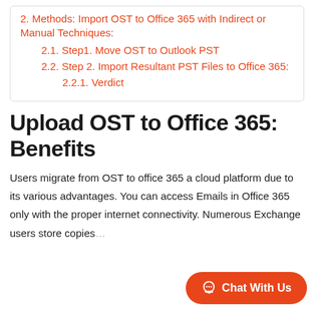2. Methods: Import OST to Office 365 with Indirect or Manual Techniques:
2.1. Step1. Move OST to Outlook PST
2.2. Step 2. Import Resultant PST Files to Office 365:
2.2.1. Verdict
Upload OST to Office 365: Benefits
Users migrate from OST to office 365 a cloud platform due to its various advantages. You can access Emails in Office 365 only with the proper internet connectivity. Numerous Exchange users store copies…